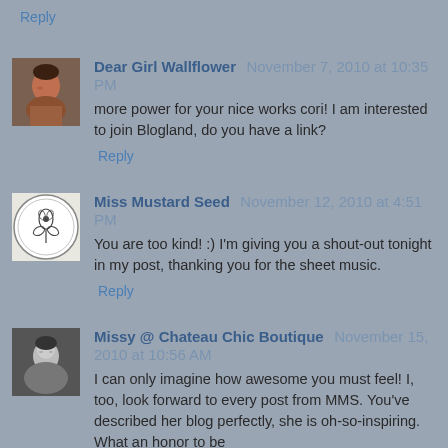Reply
Dear Girl Wallflower November 7, 2010 at 10:35 PM
more power for your nice works cori! I am interested to join Blogland, do you have a link?
Reply
Miss Mustard Seed November 12, 2010 at 4:51 PM
You are too kind! :) I'm giving you a shout-out tonight in my post, thanking you for the sheet music.
Reply
Missy @ Chateau Chic Boutique November 15, 2010 at 10:56 AM
I can only imagine how awesome you must feel! I, too, look forward to every post from MMS. You've described her blog perfectly, she is oh-so-inspiring. What an honor to be